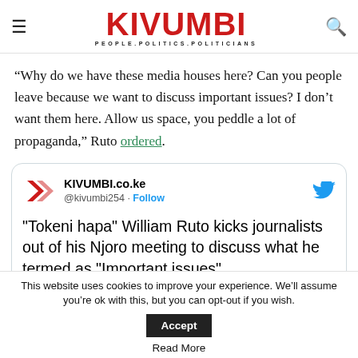KIVUMBI — PEOPLE.POLITICS.POLITICIANS
“Why do we have these media houses here? Can you people leave because we want to discuss important issues? I don’t want them here. Allow us space, you peddle a lot of propaganda,” Ruto ordered.
[Figure (screenshot): Embedded tweet from KIVUMBI.co.ke (@kivumbi254) with Follow button and Twitter bird icon. Tweet text: "Tokeni hapa" William Ruto kicks journalists out of his Njoro meeting to discuss what he termed as "Important issues"]
This website uses cookies to improve your experience. We’ll assume you’re ok with this, but you can opt-out if you wish. Accept
Read More